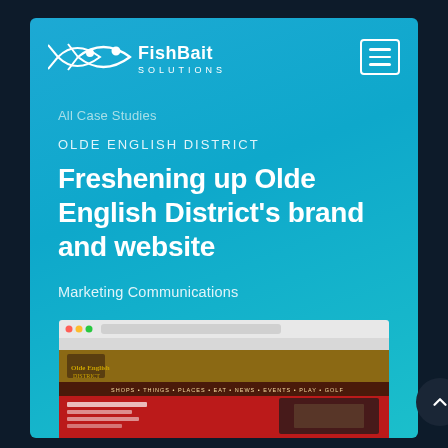[Figure (logo): FishBait Solutions logo — white fish outline with 'FishBait SOLUTIONS' text in white]
All Case Studies
OLDE ENGLISH DISTRICT
Freshening up Olde English District's brand and website
Marketing Communications
[Figure (screenshot): Screenshot of the Olde English District website showing a header with navigation menu and a red section with images]